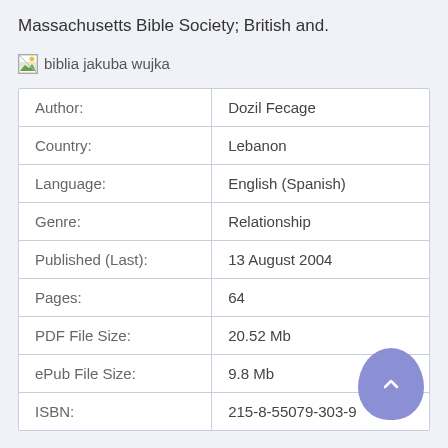Massachusetts Bible Society; British and.
[Figure (illustration): Broken image placeholder labeled 'biblia jakuba wujka']
| Author: | Dozil Fecage |
| Country: | Lebanon |
| Language: | English (Spanish) |
| Genre: | Relationship |
| Published (Last): | 13 August 2004 |
| Pages: | 64 |
| PDF File Size: | 20.52 Mb |
| ePub File Size: | 9.8 Mb |
| ISBN: | 215-8-55079-303-9 |